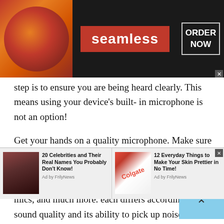[Figure (screenshot): Seamless food delivery advertisement banner with pizza image on left, red Seamless badge in center, and ORDER NOW box on right against dark background]
step is to ensure you are being heard clearly. This means using your device's built- in microphone is not an option!

Get your hands on a quality microphone. Make sure you research about the types of microphones that you can use. There is a variety of mics out there including handheld mics, wireless mics, lavalier mics, and much more. each differs according to sound quality and its ability to pick up noise. Most mics pick up background noise which can be a huge turnoff when communicating with someone on a video call.
[Figure (screenshot): Bottom advertisement strip with two ads: '20 Celebrities and Their Real Names You Probably Don't Know!' by FrilyNews, and '12 Everyday Things to Make Your Skin Prettier in No Time!' by FrilyNews with Colgate toothpaste image]